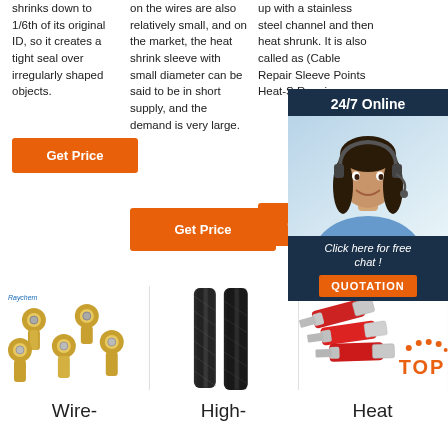shrinks down to 1/6th of its original ID, so it creates a tight seal over irregularly shaped objects.
on the wires are also relatively small, and on the market, the heat shrink sleeve with small diameter can be said to be in short supply, and the demand is very large.
up with a stainless steel channel and then heat shrunk. It is also called as (Cable Repair Sleeve Points Heat-S Repair
Get Price
Get Price
Get
[Figure (photo): Customer service representative with headset, overlaid on dark blue panel with '24/7 Online' header and 'Click here for free chat!' text and QUOTATION button]
[Figure (photo): Ring terminal connectors (gold/yellow) with Raychem brand label]
[Figure (photo): Black flat braided sleeving / expandable lace tubing]
[Figure (photo): Red heat shrink wire connectors with TOP badge overlay]
Wire-
High-
Heat